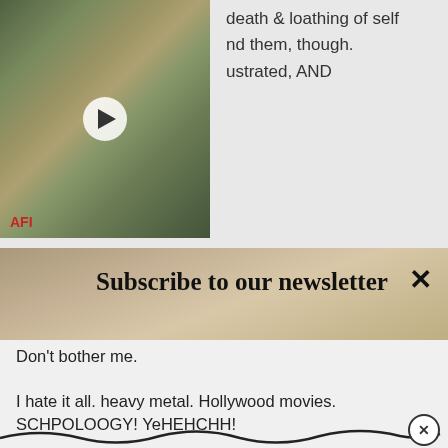[Figure (screenshot): Video thumbnail of a film still with AFI label and play button overlay]
death & loathing of self nd them, though. ustrated, AND
[Figure (screenshot): Newsletter subscription overlay with 'Subscribe to our newsletter' heading, email input field and SIGN UP button on a textured tan background with X close button]
Don't bother me.
I hate it all. heavy metal. Hollywood movies. SCHPOLOOGY! YeHEHCHH!